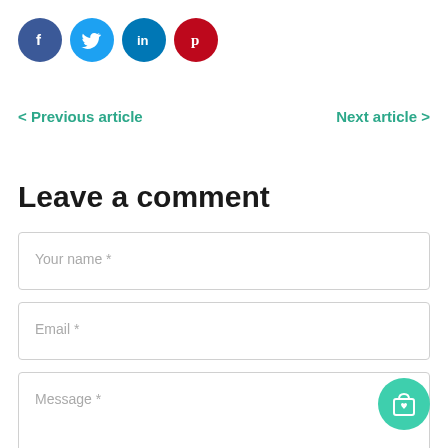[Figure (illustration): Row of four social media icon circles: Facebook (blue), Twitter (light blue), LinkedIn (dark blue), Pinterest (red)]
< Previous article   Next article >
Leave a comment
Your name *
Email *
Message *
[Figure (illustration): Green circular shopping bag icon with a heart]